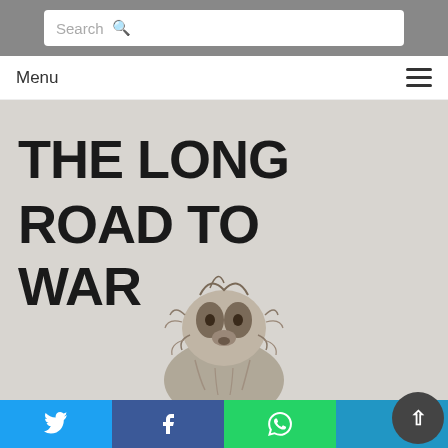Search
Menu
[Figure (illustration): Book cover or article header image: large bold uppercase text 'THE LONG ROAD TO WAR' over a light grey background, with a pencil sketch illustration of a sloth looking upward below the text.]
Twitter share | Facebook share | WhatsApp share | Other share